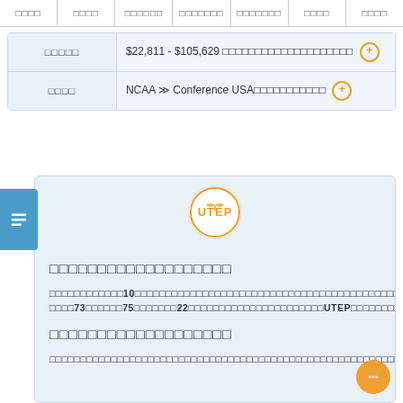| □□□□ | □□□□ | □□□□□□ | □□□□□□□ | □□□□□□□ | □□□□ | □□□□ |
| --- | --- | --- | --- | --- | --- | --- |
| □□□□□ | $22,811 - $105,629 □□□□□□□□□□□□□□□□□□□□ |
| □□□□ | NCAA ≫ Conference USA□□□□□□□□□□□ |
[Figure (logo): UTEP university circular logo with orange pickaxe and blue text]
□□□□□□□□□□□□□□□□□□□
□□□□□□□□□□□□10□□□□□□□□□□□□□□□□□□□□□□□□□□□□□□□□□□□□□□□□□□□□□□□□□□□□□□□□□□□□□□□□□□□□□□□□□73□□□□□□75□□□□□□□22□□□□□□□□□□□□□□□□□□□□□UTEP□□□□□□□□□□□□□□□□□□□□□□□□□□□□□□□□□□□□□□□□□□□□□□□□□□□□3D□□□□□□□□□□□□□□□□□
□□□□□□□□□□□□□□□□□□□
□□□□□□□□□□□□□□□□□□□□□□□□□□□□□□□□□□□□□□□□□□□□□□□□□□□□□□□□□□□□□□□□□□□□□□□□□□□□□□□□□□□□□□□□□□□□□□□□□□□□□□□□□□□□□□□□□□□□□□□